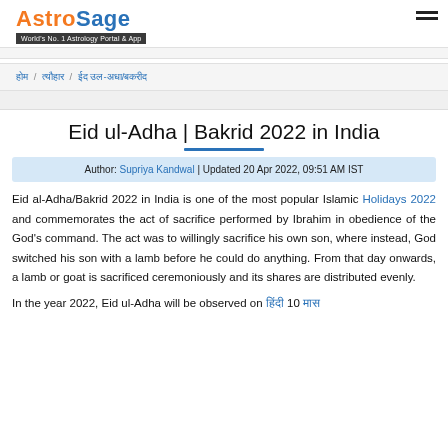AstroSage — World's No. 1 Astrology Portal & App
होम / त्यौहार / ईद उल-अधा/बकरीद
Eid ul-Adha | Bakrid 2022 in India
Author: Supriya Kandwal | Updated 20 Apr 2022, 09:51 AM IST
Eid al-Adha/Bakrid 2022 in India is one of the most popular Islamic Holidays 2022 and commemorates the act of sacrifice performed by Ibrahim in obedience of the God's command. The act was to willingly sacrifice his own son, where instead, God switched his son with a lamb before he could do anything. From that day onwards, a lamb or goat is sacrificed ceremoniously and its shares are distributed evenly.
In the year 2022, Eid ul-Adha will be observed on [date] 10 [month]